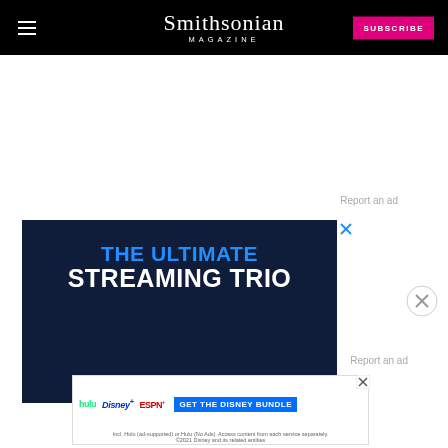Smithsonian MAGAZINE | SUBSCRIBE
Report an ad
[Figure (infographic): Advertisement banner with dark navy background. Text reads 'THE ULTIMATE STREAMING TRIO' in blue and white bold letters. Has a close (X) button in the top-right corner.]
Report an ad
[Figure (infographic): Bottom banner ad for Disney Bundle showing Hulu, Disney+, and ESPN+ logos with 'GET THE DISNEY BUNDLE' CTA button. Fine print: 'Incl. Hulu (ad-supported) or Hulu (No Ads). Access content from each service separately. ©2021 Disney and its related entities']